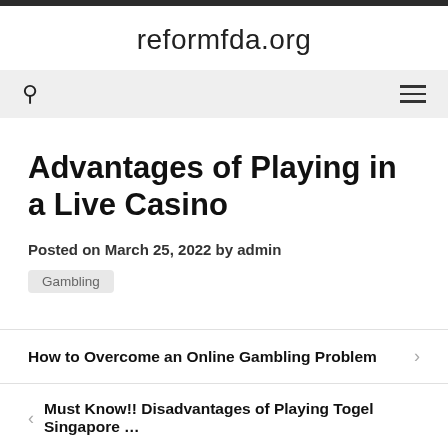reformfda.org
Advantages of Playing in a Live Casino
Posted on March 25, 2022 by admin
Gambling
How to Overcome an Online Gambling Problem
Must Know!! Disadvantages of Playing Togel Singapore …